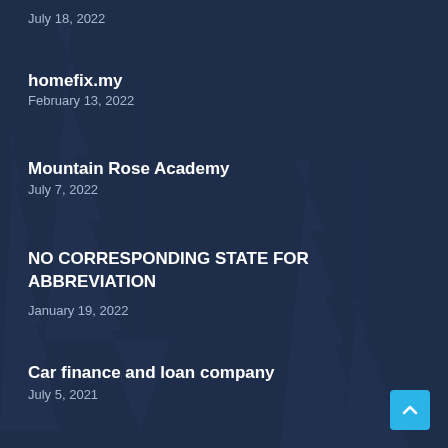July 18, 2022
homefix.my
February 13, 2022
Mountain Rose Academy
July 7, 2022
NO CORRESPONDING STATE FOR ABBREVIATION
January 19, 2022
Car finance and loan company
July 5, 2021